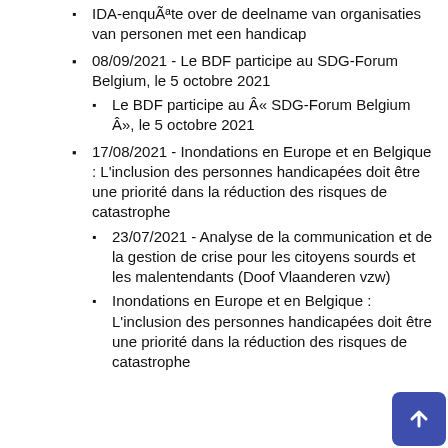IDA-enquête over de deelname van organisaties van personen met een handicap
08/09/2021 - Le BDF participe au SDG-Forum Belgium, le 5 octobre 2021
Le BDF participe au « SDG-Forum Belgium », le 5 octobre 2021
17/08/2021 - Inondations en Europe et en Belgique : L'inclusion des personnes handicapées doit être une priorité dans la réduction des risques de catastrophe
23/07/2021 - Analyse de la communication et de la gestion de crise pour les citoyens sourds et les malentendants (Doof Vlaanderen vzw)
Inondations en Europe et en Belgique : L'inclusion des personnes handicapées doit être une priorité dans la réduction des risques de catastrophe